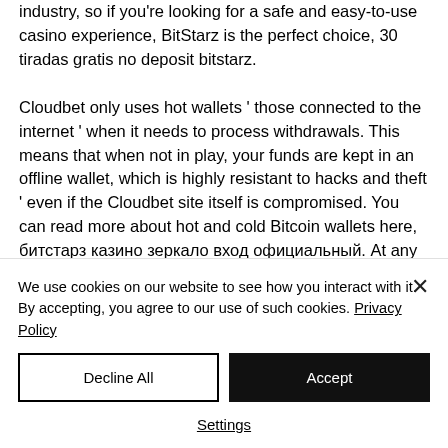industry, so if you're looking for a safe and easy-to-use casino experience, BitStarz is the perfect choice, 30 tiradas gratis no deposit bitstarz. Cloudbet only uses hot wallets ' those connected to the internet ' when it needs to process withdrawals. This means that when not in play, your funds are kept in an offline wallet, which is highly resistant to hacks and theft ' even if the Cloudbet site itself is compromised. You can read more about hot and cold Bitcoin wallets here, битстарз казино зеркало вход официальный. At any
We use cookies on our website to see how you interact with it. By accepting, you agree to our use of such cookies. Privacy Policy
Decline All
Accept
Settings